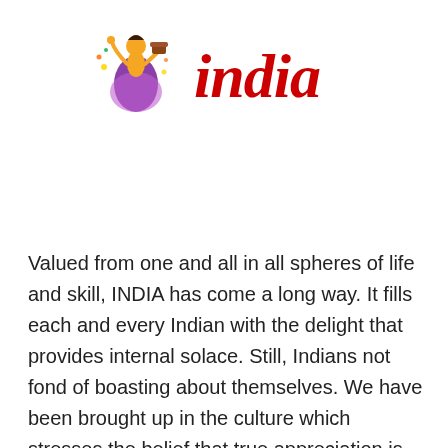[Figure (logo): Incredible India logo: a dancer figure in purple and yellow with decorative elements on the left, and the word 'india' in red italic stylized font on the right]
Valued from one and all in all spheres of life and skill, INDIA has come a long way. It fills each and every Indian with the delight that provides internal solace. Still, Indians not fond of boasting about themselves. We have been brought up in the culture which stresses the belief that true appreciation is not from the family but from the people around. Mothers have always kept admiration at bay, only to smile from cheek to cheek when achieved by their children.